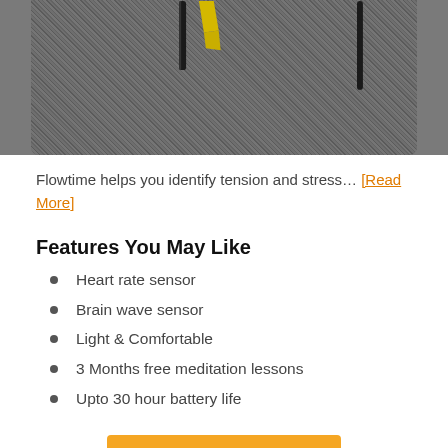[Figure (photo): Close-up photo of a meditation/EEG headset device resting on a gray carpet, showing yellow and black components]
Flowtime helps you identify tension and stress… [Read More]
Features You May Like
Heart rate sensor
Brain wave sensor
Light & Comfortable
3 Months free meditation lessons
Upto 30 hour battery life
CHECK PRICE